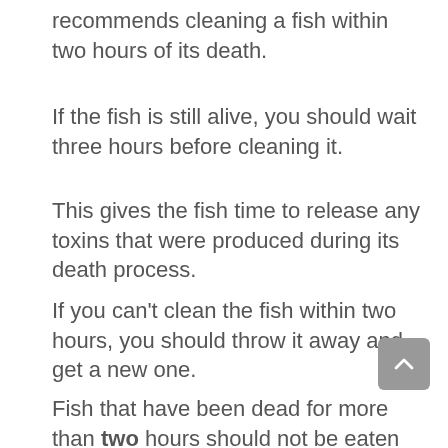recommends cleaning a fish within two hours of its death.
If the fish is still alive, you should wait three hours before cleaning it.
This gives the fish time to release any toxins that were produced during its death process.
If you can't clean the fish within two hours, you should throw it away and get a new one.
Fish that have been dead for more than two hours should not be eaten at all.